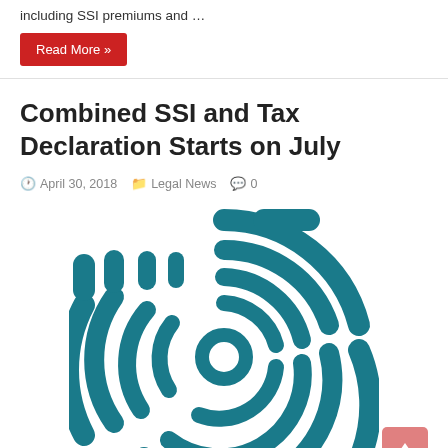including SSI premiums and …
Read More »
Combined SSI and Tax Declaration Starts on July
April 30, 2018  Legal News  0
[Figure (illustration): A circular maze / labyrinth icon in teal/dark cyan color, shown as concentric circular rings with gaps forming a maze pattern.]